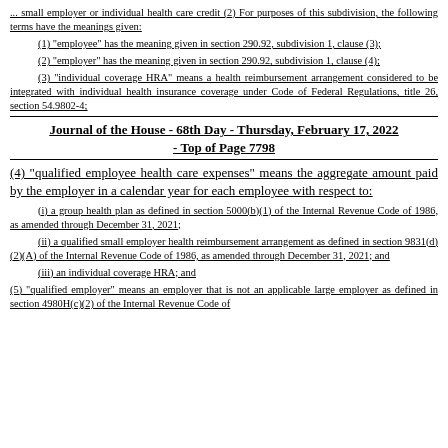... small employer or individual health care credit (2) For purposes of this subdivision, the following terms have the meanings given:
(1) "employee" has the meaning given in section 290.92, subdivision 1, clause (3);
(2) "employer" has the meaning given in section 290.92, subdivision 1, clause (4);
(3) "individual coverage HRA" means a health reimbursement arrangement considered to be integrated with individual health insurance coverage under Code of Federal Regulations, title 26, section 54.9802-4;
Journal of the House - 68th Day - Thursday, February 17, 2022 - Top of Page 7798
(4) "qualified employee health care expenses" means the aggregate amount paid by the employer in a calendar year for each employee with respect to:
(i) a group health plan as defined in section 5000(b)(1) of the Internal Revenue Code of 1986, as amended through December 31, 2021;
(ii) a qualified small employer health reimbursement arrangement as defined in section 9831(d)(2)(A) of the Internal Revenue Code of 1986, as amended through December 31, 2021; and
(iii) an individual coverage HRA; and
(5) "qualified employer" means an employer that is not an applicable large employer as defined in section 4980H(c)(2) of the Internal Revenue Code of